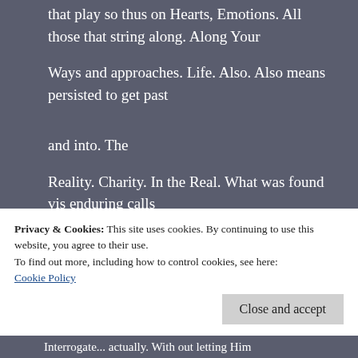that play so thus on Hearts, Emotions. All those that string along. Along Your
Ways and approaches. Life. Also. Also means persisted to get past
and into. The
Reality. Charity. In the Real. What was found vis enduring calls
Privacy & Cookies: This site uses cookies. By continuing to use this website, you agree to their use.
To find out more, including how to control cookies, see here:
Cookie Policy
Interrogate... actually. With out letting Him